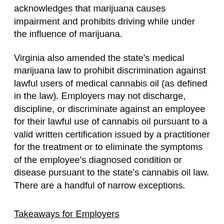acknowledges that marijuana causes impairment and prohibits driving while under the influence of marijuana.
Virginia also amended the state's medical marijuana law to prohibit discrimination against lawful users of medical cannabis oil (as defined in the law). Employers may not discharge, discipline, or discriminate against an employee for their lawful use of cannabis oil pursuant to a valid written certification issued by a practitioner for the treatment or to eliminate the symptoms of the employee's diagnosed condition or disease pursuant to the state's cannabis oil law. There are a handful of narrow exceptions.
Takeaways for Employers